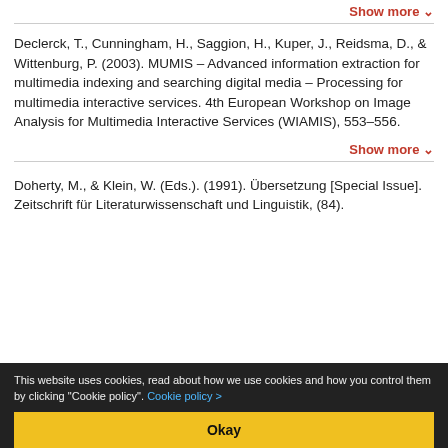Show more ▾
Declerck, T., Cunningham, H., Saggion, H., Kuper, J., Reidsma, D., & Wittenburg, P. (2003). MUMIS – Advanced information extraction for multimedia indexing and searching digital media – Processing for multimedia interactive services. 4th European Workshop on Image Analysis for Multimedia Interactive Services (WIAMIS), 553–556.
Show more ▾
Doherty, M., & Klein, W. (Eds.). (1991). Übersetzung [Special Issue]. Zeitschrift für Literaturwissenschaft und Linguistik, (84).
This website uses cookies, read about how we use cookies and how you control them by clicking "Cookie policy". Cookie policy >
Okay